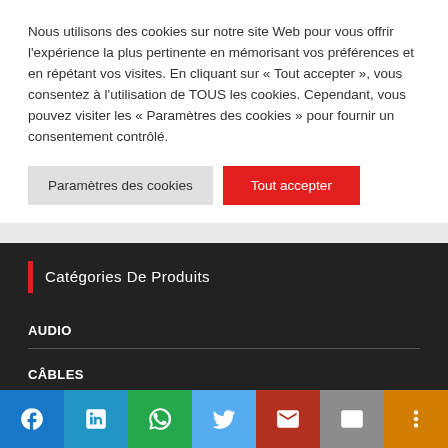Nous utilisons des cookies sur notre site Web pour vous offrir l'expérience la plus pertinente en mémorisant vos préférences et en répétant vos visites. En cliquant sur « Tout accepter », vous consentez à l'utilisation de TOUS les cookies. Cependant, vous pouvez visiter les « Paramètres des cookies » pour fournir un consentement contrôlé.
Paramètres des cookies
Tout accepter
Catégories De Produits
AUDIO
CÂBLES
[Figure (infographic): Social sharing bar with icons for Facebook, LinkedIn, WhatsApp, Twitter, Gmail, Email, and More options]